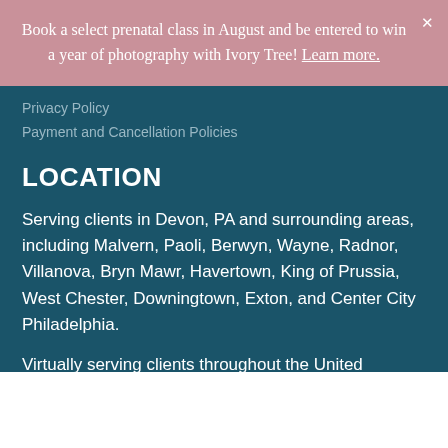Book a select prenatal class in August and be entered to win a year of photography with Ivory Tree! Learn more.
Privacy Policy
Payment and Cancellation Policies
LOCATION
Serving clients in Devon, PA and surrounding areas, including Malvern, Paoli, Berwyn, Wayne, Radnor, Villanova, Bryn Mawr, Havertown, King of Prussia, West Chester, Downingtown, Exton, and Center City Philadelphia.
Virtually serving clients throughout the United